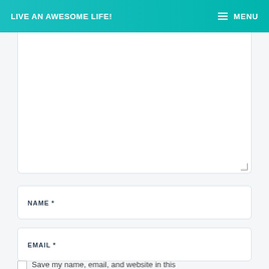LIVE AN AWESOME LIFE!   ≡ MENU
[Figure (screenshot): Partial text area form field (white box, top portion cut off, with resize handle in bottom right corner)]
NAME *
EMAIL *
WEBSITE
Save my name, email, and website in this